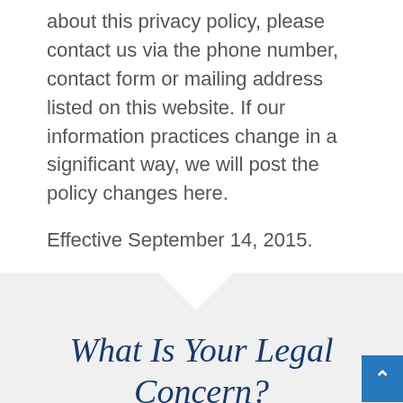about this privacy policy, please contact us via the phone number, contact form or mailing address listed on this website. If our information practices change in a significant way, we will post the policy changes here.
Effective September 14, 2015.
What Is Your Legal Concern?
Fields marked with an * are required